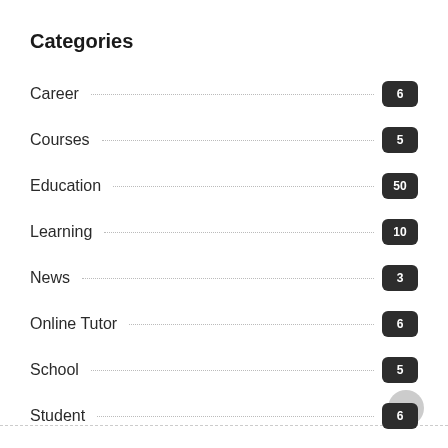Categories
Career 6
Courses 5
Education 50
Learning 10
News 3
Online Tutor 6
School 5
Student 6